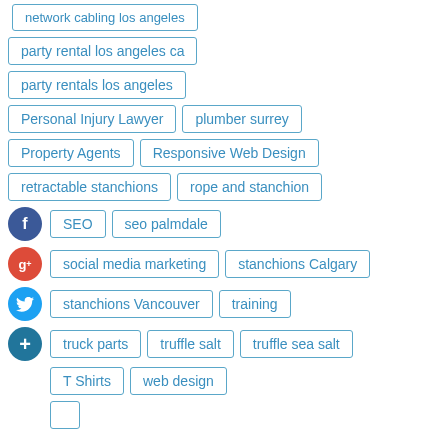network cabling los angeles
party rental los angeles ca
party rentals los angeles
Personal Injury Lawyer
plumber surrey
Property Agents
Responsive Web Design
retractable stanchions
rope and stanchion
SEO
seo palmdale
social media marketing
stanchions Calgary
stanchions Vancouver
training
truck parts
truffle salt
truffle sea salt
T Shirts
web design